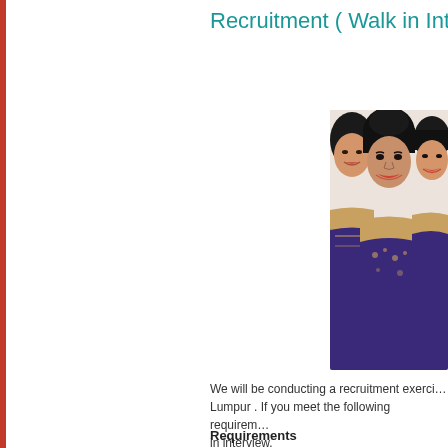Recruitment ( Walk in Int…
[Figure (photo): Group photo of three smiling women in traditional airline uniforms with ornate blue and gold patterns]
We will be conducting a recruitment exerci… Lumpur . If you meet the following requirem… in interview.
Requirements